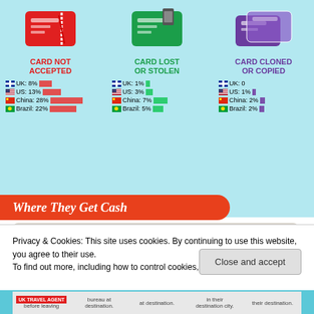[Figure (infographic): Three card problem categories: Card Not Accepted (UK 8%, US 13%, China 28%, Brazil 22%), Card Lost or Stolen (UK 1%, US 3%, China 7%, Brazil 5%), Card Cloned or Copied (UK 0, US 1%, China 2%, Brazil 2%). Each shown with flag icons and horizontal bar charts.]
Where They Get Cash
Cash is king, no matter where you go. While some international travelers plan ahead and exchange currency prior to leaving, others wait until they arrive.
[Figure (bar-chart): Purple bar chart showing cash-getting methods, partially visible.]
Privacy & Cookies: This site uses cookies. By continuing to use this website, you agree to their use.
To find out more, including how to control cookies, see here: Cookie Policy
Close and accept
UK TRAVEL AGENT before leaving | bureau at destination. | at destination. | in their destination city. | their destination.